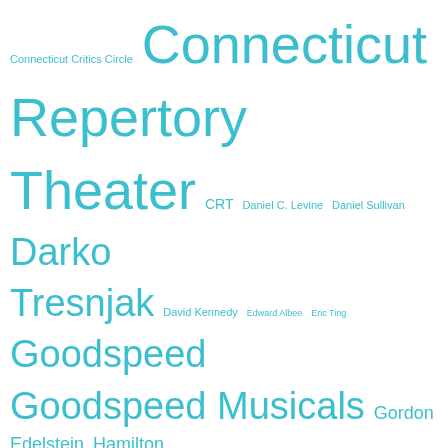[Figure (infographic): A tag cloud of theater-related terms and names in teal/cyan color on white background. Larger text indicates more prominent tags: Connecticut Repertory Theater, Darko Tresnjak, Goodspeed, Goodspeed Musicals, Hartford Stage, Ivoryton Playhouse, Long Wharf, Long Wharf Theater are the largest. Medium: Gordon Edelstein, Hamilton, Irish Rep, James Bundy, Kevin Connors, Long Wharf. Small: Connecticut Critics Circle, CRT, Daniel C. Levine, Daniel Sullivan, David Kennedy, Edward Albee, Eric Ting, Henrik Ibsen, Hersehy Felder, Ivoryton, Jacqueline Hubbard, James Lapine, Jason Robert Brown, Jefferson Mays, Jenn Thompson, Jessica Hecht, John Tillinger, Karen Ziemba, La Cageaux Folles, Liz Diamond, Love Letters, Manhattan Theater Club.]